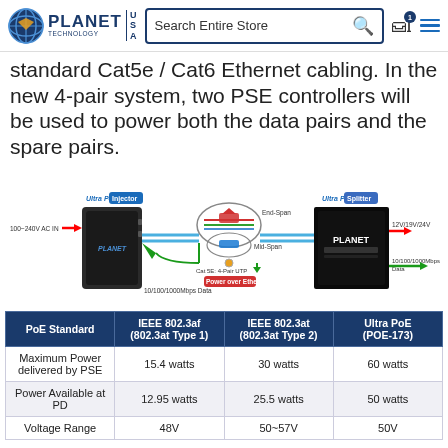PLANET TECHNOLOGY USA — Search Entire Store
standard Cat5e / Cat6 Ethernet cabling. In the new 4-pair system, two PSE controllers will be used to power both the data pairs and the spare pairs.
[Figure (engineering-diagram): Diagram showing Ultra PoE Injector connected via Cat 5E 4-Pair UTP cable to Ultra PoE Splitter. Shows End-Span and Mid-Span connections. 100~240V AC IN on left side. 12V/19V/24V output on right. 10/100/1000Mbps Data connections shown. 60W Power over Ethernet label shown.]
| PoE Standard | IEEE 802.3af (802.3at Type 1) | IEEE 802.3at (802.3at Type 2) | Ultra PoE (POE-173) |
| --- | --- | --- | --- |
| Maximum Power delivered by PSE | 15.4 watts | 30 watts | 60 watts |
| Power Available at PD | 12.95 watts | 25.5 watts | 50 watts |
| Voltage Range | 48V | 50~57V | 50V |